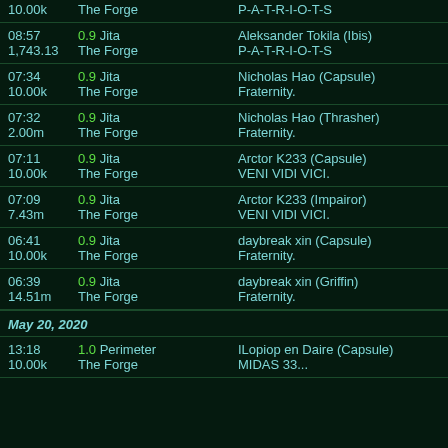| Time/ISK | Sec/Location | Victim/Corp |
| --- | --- | --- |
| 10.00k | The Forge | P-A-T-R-I-O-T-S |
| 08:57 | 0.9 Jita | Aleksander Tokila (Ibis) |
| 1,743.13 | The Forge | P-A-T-R-I-O-T-S |
| 07:34 | 0.9 Jita | Nicholas Hao (Capsule) |
| 10.00k | The Forge | Fraternity. |
| 07:32 | 0.9 Jita | Nicholas Hao (Thrasher) |
| 2.00m | The Forge | Fraternity. |
| 07:11 | 0.9 Jita | Arctor K233 (Capsule) |
| 10.00k | The Forge | VENI VIDI VICI. |
| 07:09 | 0.9 Jita | Arctor K233 (Impairor) |
| 7.43m | The Forge | VENI VIDI VICI. |
| 06:41 | 0.9 Jita | daybreak xin (Capsule) |
| 10.00k | The Forge | Fraternity. |
| 06:39 | 0.9 Jita | daybreak xin (Griffin) |
| 14.51m | The Forge | Fraternity. |
May 20, 2020
| Time/ISK | Sec/Location | Victim/Corp |
| --- | --- | --- |
| 13:18 | 1.0 Perimeter | ILopiop en Daire (Capsule) |
| 10.00k | The Forge | MIDAS 33... |